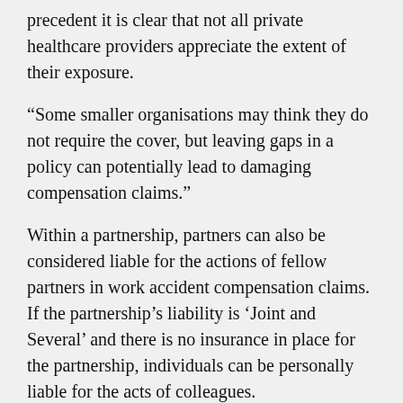precedent it is clear that not all private healthcare providers appreciate the extent of their exposure.
“Some smaller organisations may think they do not require the cover, but leaving gaps in a policy can potentially lead to damaging compensation claims.”
Within a partnership, partners can also be considered liable for the actions of fellow partners in work accident compensation claims. If the partnership’s liability is ‘Joint and Several’ and there is no insurance in place for the partnership, individuals can be personally liable for the acts of colleagues.
Mr Mackie said: “Everyone working in the healthcare sector knows that these types of claims are increasing, so if appropriate insurance isn’t in place within an organisation, the financial implications could be devastating.
“The principle of vicarious liability means employers can be